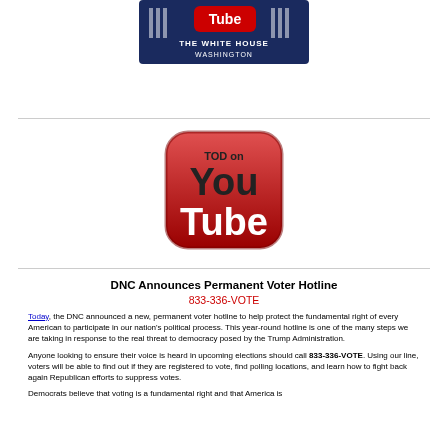[Figure (logo): White House YouTube logo — YouTube red button with 'Tube' text over White House image with text 'THE WHITE HOUSE WASHINGTON']
[Figure (logo): TOD on YouTube logo — red rounded square YouTube logo with 'TOD on You Tube' text]
DNC Announces Permanent Voter Hotline
833-336-VOTE
Today, the DNC announced a new, permanent voter hotline to help protect the fundamental right of every American to participate in our nation's political process.  This year-round hotline is one of the many steps we are taking in response to the real threat to democracy posed by the Trump Administration.
Anyone looking to ensure their voice is heard in upcoming elections should call 833-336-VOTE.  Using our line, voters will be able to find out if they are registered to vote, find polling locations, and learn how to fight back again Republican efforts to suppress votes.
Democrats believe that voting is a fundamental right and that America is